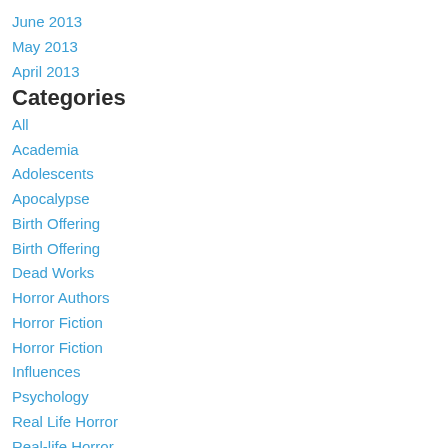June 2013
May 2013
April 2013
Categories
All
Academia
Adolescents
Apocalypse
Birth Offering
Birth Offering
Dead Works
Horror Authors
Horror Fiction
Horror Fiction
Influences
Psychology
Real Life Horror
Real-life Horror
Reflections
Reviews